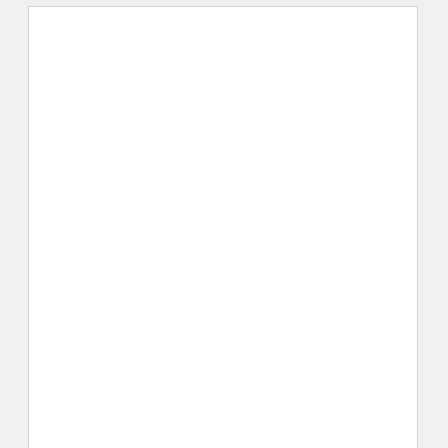[Figure (photo): A large white/blank area occupying most of the framed page, likely a photograph of Karburnie, home of Alexander Petroff, with the image content not visible or very light.]
KARBURNIE – HOME OF ALEXANDER PETROFF